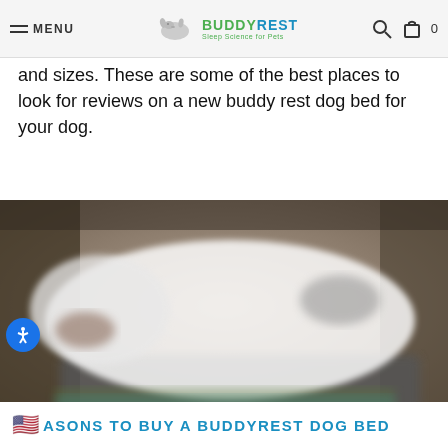MENU | BUDDY REST Sleep Science for Pets | [search icon] [cart icon] 0
and sizes. These are some of the best places to look for reviews on a new buddy rest dog bed for your dog.
[Figure (photo): A white dog sleeping/resting on what appears to be a dark dog bed, photographed outdoors with a blurred background.]
REASONS TO BUY A BUDDYREST DOG BED